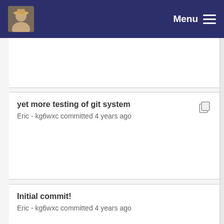Menu
yet more testing of git system
Eric - kg6wxc committed 4 years ago
Initial commit!
Eric - kg6wxc committed 4 years ago